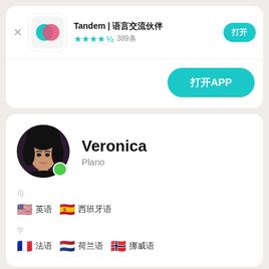[Figure (screenshot): Tandem app icon with teal and pink overlapping circles on white rounded square background]
Tandem | 交流语言，交友
★★★★☆ 389条
打开
打开APP
[Figure (photo): Profile photo of Veronica, a woman with dark hair]
Veronica
Plano
母
🇺🇸 英语  🇪🇸 西班牙语
学
🇫🇷 法语  🇳🇱 荷兰语  🇳🇴 挪威语